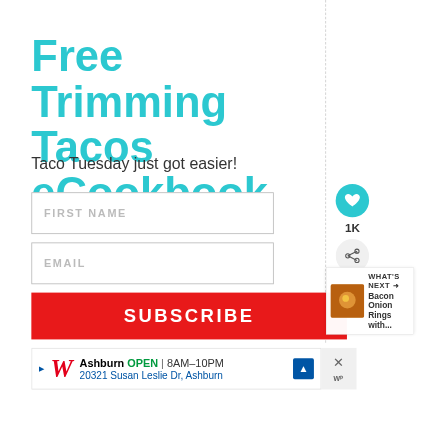Free Trimming Tacos eCookbook
Taco Tuesday just got easier!
[Figure (screenshot): Web form with FIRST NAME input field (outlined box with placeholder text)]
[Figure (screenshot): Web form with EMAIL input field (outlined box with placeholder text)]
[Figure (screenshot): Red SUBSCRIBE button]
[Figure (screenshot): Social sidebar with teal heart icon button showing 1K count and share button]
[Figure (screenshot): What's Next panel showing Bacon Onion Rings with... thumbnail and text]
[Figure (screenshot): Walgreens advertisement banner: Ashburn OPEN 8AM-10PM, 20321 Susan Leslie Dr, Ashburn with close button]